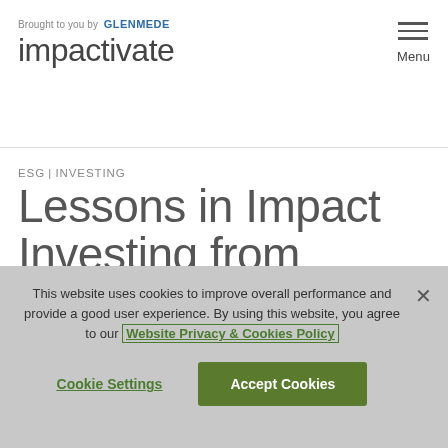Brought to you by GLENMEDE
impactivate
ESG INVESTING
Lessons in Impact Investing from Foundations and Peers
This website uses cookies to improve overall performance and provide a good user experience. By using this website, you agree to our Website Privacy & Cookies Policy
Cookie Settings
Accept Cookies